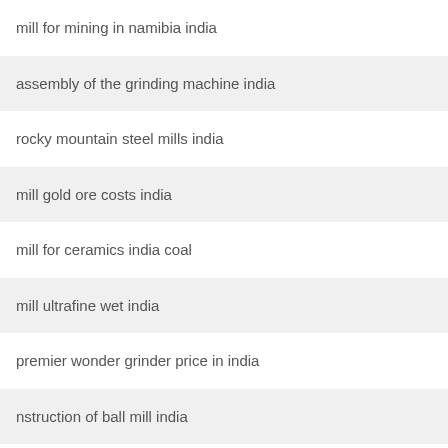mill for mining in namibia india
assembly of the grinding machine india
rocky mountain steel mills india
mill gold ore costs india
mill for ceramics india coal
mill ultrafine wet india
premier wonder grinder price in india
nstruction of ball mill india